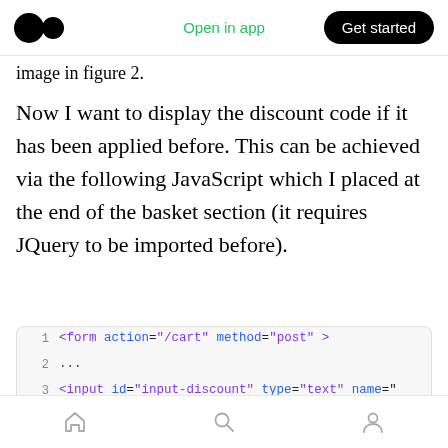Open in app  Get started
image in figure 2.
Now I want to display the discount code if it has been applied before. This can be achieved via the following JavaScript which I placed at the end of the basket section (it requires JQuery to be imported before).
[Figure (screenshot): Code block showing HTML form markup with syntax highlighting. Lines 1-6 visible: 1: <form action="/cart" method="post">, 2: ..., 3: <input id="input-discount" type="text" name="...", 4: <button type="submit" name="checkout">, 5: Checkout <span class="sub">{{ cart.total_, 6: </button>]
Home  Search  Profile